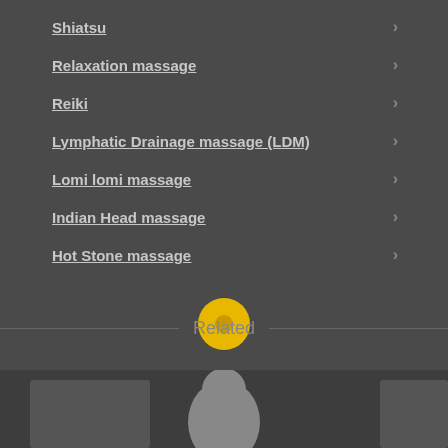Shiatsu
Relaxation massage
Reiki
Lymphatic Drainage massage (LDM)
Lomi lomi massage
Indian Head massage
Hot Stone massage
Related
[Figure (photo): Bottom area showing partial images related to massage topics]